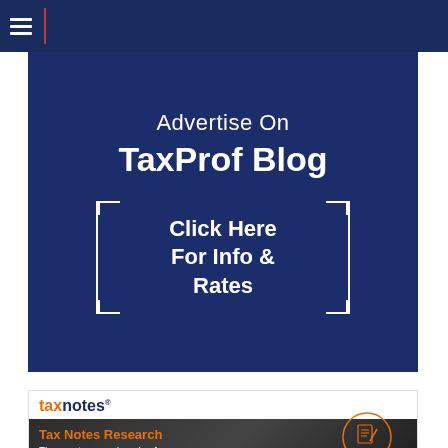Navigation bar with hamburger menu
[Figure (illustration): TaxProf Blog advertisement banner with dark navy background. Text reads 'Advertise On TaxProf Blog' with a bracketed box containing 'Click Here For Info & Rates']
[Figure (illustration): Tax Notes advertisement. Top section shows 'taxnotes' logo in orange and navy. Bottom dark section shows 'Tax Notes Research - The most comprehensive free tax research platform, period.' with circular document icons on the right and an orange button at the bottom left.]